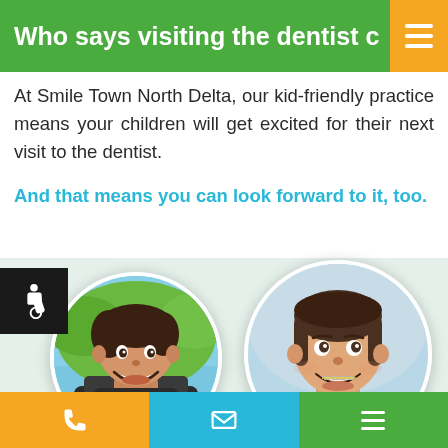Who says visiting the dentist can’t be fun...
At Smile Town North Delta, our kid-friendly practice means your children will get excited for their next visit to the dentist.
And that means you can look forward to it, too.
[Figure (photo): Circular photo of a smiling boy with dark hair]
[Figure (photo): Circular photo of a smiling girl with braces]
Phone | Email | Menu toolbar